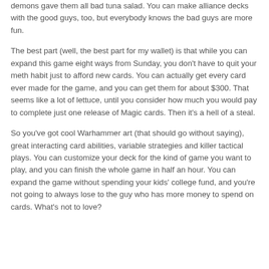demons gave them all bad tuna salad. You can make alliance decks with the good guys, too, but everybody knows the bad guys are more fun.
The best part (well, the best part for my wallet) is that while you can expand this game eight ways from Sunday, you don't have to quit your meth habit just to afford new cards. You can actually get every card ever made for the game, and you can get them for about $300. That seems like a lot of lettuce, until you consider how much you would pay to complete just one release of Magic cards. Then it's a hell of a steal.
So you've got cool Warhammer art (that should go without saying), great interacting card abilities, variable strategies and killer tactical plays. You can customize your deck for the kind of game you want to play, and you can finish the whole game in half an hour. You can expand the game without spending your kids' college fund, and you're not going to always lose to the guy who has more money to spend on cards. What's not to love?